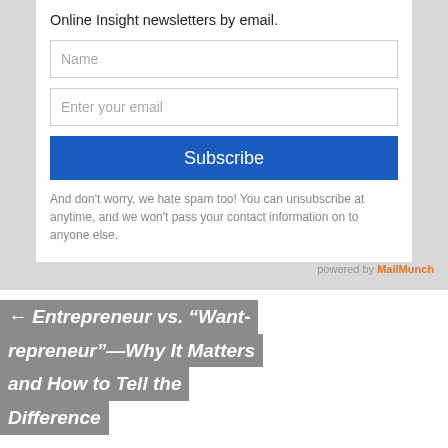Online Insight newsletters by email.
Name
Enter your email
Subscribe
And don't worry, we hate spam too! You can unsubscribe at anytime, and we won't pass your contact information on to anyone else.
powered by MailMunch
← Entrepreneur vs. “Want-repreneur”—Why It Matters and How to Tell the Difference